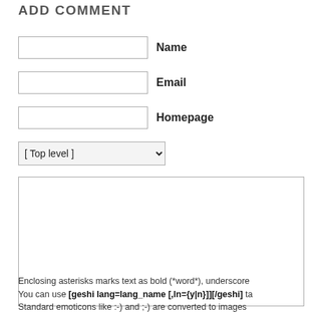ADD COMMENT
Name
Email
Homepage
[ Top level ]
Enclosing asterisks marks text as bold (*word*), underscore You can use [geshi lang=lang_name [,ln={y|n}]][/geshi] ta Standard emoticons like :-) and ;-) are converted to images